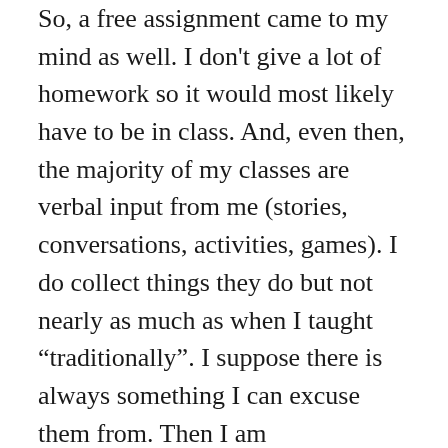So, a free assignment came to my mind as well. I don't give a lot of homework so it would most likely have to be in class. And, even then, the majority of my classes are verbal input from me (stories, conversations, activities, games). I do collect things they do but not nearly as much as when I taught “traditionally”. I suppose there is always something I can excuse them from. Then I am thinking...while the rest of the class is involved in the ‘assignment’, the student who is excused would normally want to use their cell phone or listen to music as a privilege, but my school just banned all electronic devices completely. I suppose the